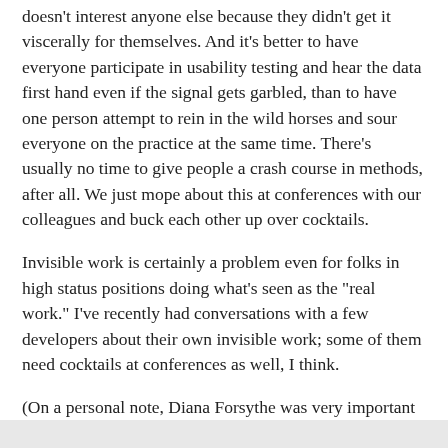doesn't interest anyone else because they didn't get it viscerally for themselves. And it's better to have everyone participate in usability testing and hear the data first hand even if the signal gets garbled, than to have one person attempt to rein in the wild horses and sour everyone on the practice at the same time. There's usually no time to give people a crash course in methods, after all. We just mope about this at conferences with our colleagues and buck each other up over cocktails.
Invisible work is certainly a problem even for folks in high status positions doing what's seen as the "real work." I've recently had conversations with a few developers about their own invisible work; some of them need cocktails at conferences as well, I think.
(On a personal note, Diana Forsythe was very important to me as a role model and colleague when I was in grad school; she died in a hiking accident in Alaska a year later, an enormous blow to me and to an entire discipline.)